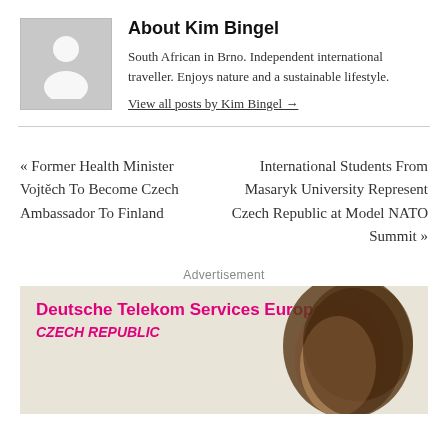[Figure (illustration): Generic user avatar placeholder - grey square with white silhouette of a person (head and shoulders)]
About Kim Bingel
South African in Brno. Independent international traveller. Enjoys nature and a sustainable lifestyle.
View all posts by Kim Bingel →
« Former Health Minister Vojtěch To Become Czech Ambassador To Finland
International Students From Masaryk University Represent Czech Republic at Model NATO Summit »
Advertisement
[Figure (photo): Deutsche Telekom Services Europe Czech Republic advertisement banner with pink bold text and a photo of a person with brown curly hair]